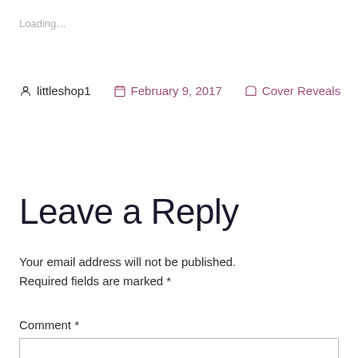Loading...
littleshop1   February 9, 2017   Cover Reveals
Leave a Reply
Your email address will not be published. Required fields are marked *
Comment *